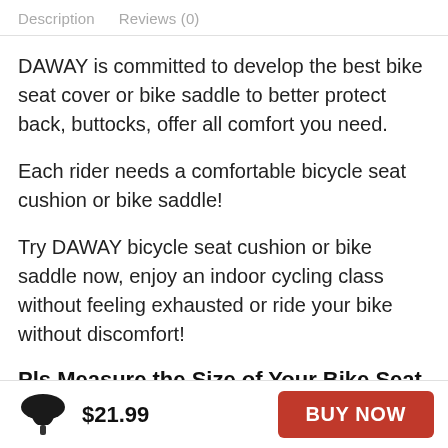Description   Reviews (0)
DAWAY is committed to develop the best bike seat cover or bike saddle to better protect back, buttocks, offer all comfort you need.
Each rider needs a comfortable bicycle seat cushion or bike saddle!
Try DAWAY bicycle seat cushion or bike saddle now, enjoy an indoor cycling class without feeling exhausted or ride your bike without discomfort!
Pls Measure the Size of Your Bike Seat
$21.99
BUY NOW